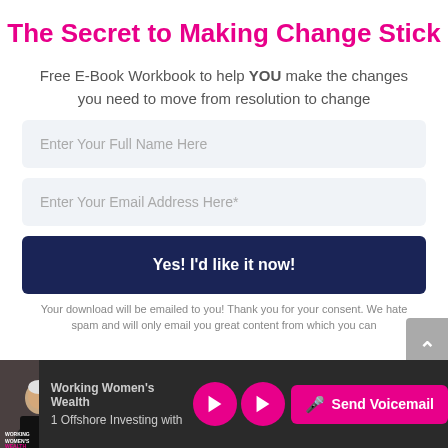The Secret to Making Change Stick
Free E-Book Workbook to help YOU make the changes you need to move from resolution to change
Enter Your Full Name Here
Enter Your Email Address Here*
Yes! I'd like it now!
Your download will be emailed to you! Thank you for your consent. We hate spam and will only email you great content from which you can
Working Women's Wealth  1 Offshore Investing with  Send Voicemail